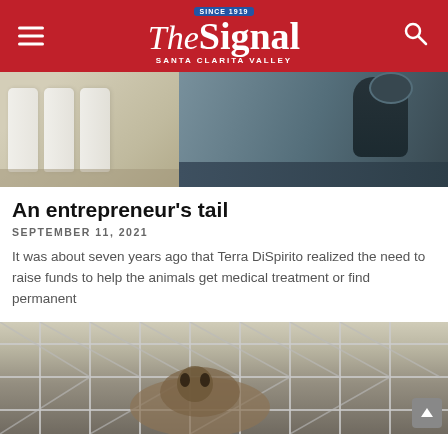The Signal — Santa Clarita Valley
[Figure (photo): A person in dark clothing standing in what appears to be a salon or store, with large white bottles/containers on a shelf in the foreground.]
An entrepreneur's tail
SEPTEMBER 11, 2021
It was about seven years ago that Terra DiSpirito realized the need to raise funds to help the animals get medical treatment or find permanent
[Figure (photo): A dog or animal seen through a chain-link fence at what appears to be a shelter.]